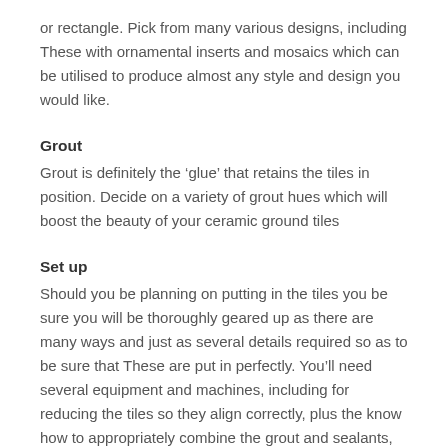or rectangle. Pick from many various designs, including These with ornamental inserts and mosaics which can be utilised to produce almost any style and design you would like.
Grout
Grout is definitely the 'glue' that retains the tiles in position. Decide on a variety of grout hues which will boost the beauty of your ceramic ground tiles
Set up
Should you be planning on putting in the tiles you be sure you will be thoroughly geared up as there are many ways and just as several details required so as to be sure that These are put in perfectly. You'll need several equipment and machines, including for reducing the tiles so they align correctly, plus the know how to appropriately combine the grout and sealants, etcetera. If you need help with the set up there isn't any will need to fret. There are many Specialist ceramic tile set up corporations which will